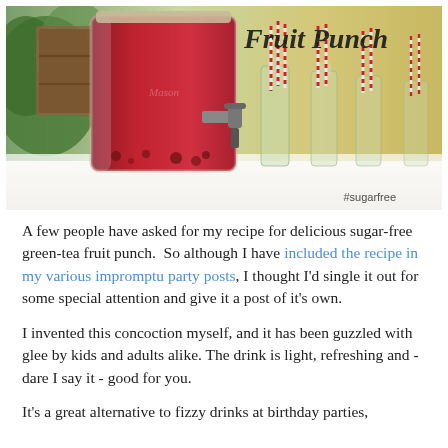[Figure (photo): A large glass beverage dispenser filled with deep red fruit punch, with a metal spigot. In the background are several glass bottles with red and white striped straws. The setting appears to be a party table with a white cloth. Text 'Fruit Punch' is in decorative script at the top right, and '#sugarfree' appears at the bottom right.]
A few people have asked for my recipe for delicious sugar-free green-tea fruit punch.  So although I have included the recipe in my various impromptu party posts, I thought I'd single it out for some special attention and give it a post of it's own.
I invented this concoction myself, and it has been guzzled with glee by kids and adults alike. The drink is light, refreshing and - dare I say it - good for you.
It's a great alternative to fizzy drinks at birthday parties,